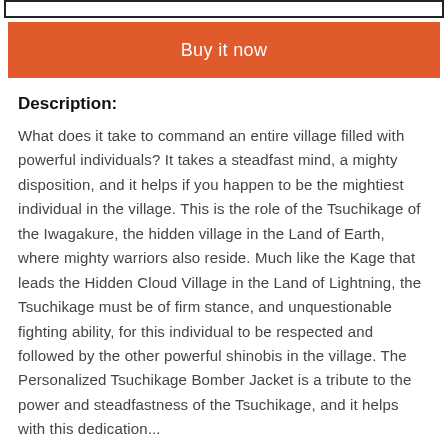[Figure (other): Top border rectangle outline]
Buy it now
Description:
What does it take to command an entire village filled with powerful individuals? It takes a steadfast mind, a mighty disposition, and it helps if you happen to be the mightiest individual in the village. This is the role of the Tsuchikage of the Iwagakure, the hidden village in the Land of Earth, where mighty warriors also reside. Much like the Kage that leads the Hidden Cloud Village in the Land of Lightning, the Tsuchikage must be of firm stance, and unquestionable fighting ability, for this individual to be respected and followed by the other powerful shinobis in the village. The Personalized Tsuchikage Bomber Jacket is a tribute to the power and steadfastness of the Tsuchikage, and it helps with this dedication...